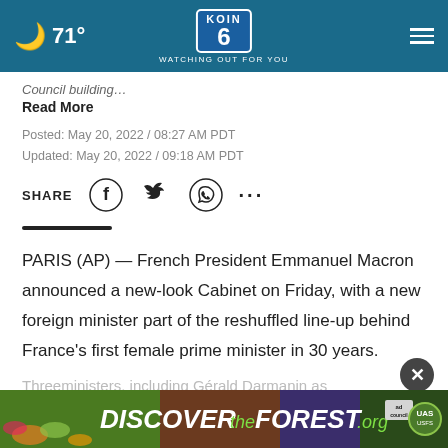🌙 71° | KOIN 6 WATCHING OUT FOR YOU
Council building…
Read More
Posted: May 20, 2022 / 08:27 AM PDT
Updated: May 20, 2022 / 09:18 AM PDT
SHARE
PARIS (AP) — French President Emmanuel Macron announced a new-look Cabinet on Friday, with a new foreign minister part of the reshuffled line-up behind France's first female prime minister in 30 years.
Three ministers, including Gérald Darmanin as interior… and
[Figure (screenshot): DISCOVERtheForest.org advertisement banner with Ad Council and US Forest Service logos]